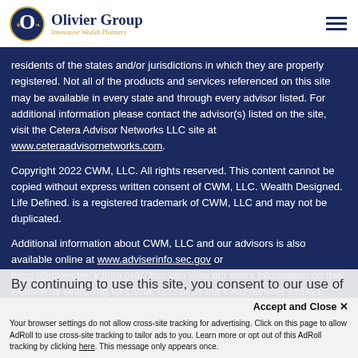Olivier Group — Innovative Wealth Planners
residents of the states and/or jurisdictions in which they are properly registered. Not all of the products and services referenced on this site may be available in every state and through every advisor listed. For additional information please contact the advisor(s) listed on the site, visit the Cetera Advisor Networks LLC site at www.ceteraadvisornetworks.com.
Copyright 2022 CWM, LLC. All rights reserved. This content cannot be copied without express written consent of CWM, LLC. Wealth Designed. Life Defined. is a registered trademark of CWM, LLC and may not be duplicated.
Additional information about CWM, LLC and our advisors is also available online at www.adviserinfo.sec.gov or https://brokercheck.finra.org/. You can view our firm's information on this website by searching for CWM, LLC or by our CRD number 155311.
By continuing to use this site, you consent to our use of
Accept and Close ✕
Your browser settings do not allow cross-site tracking for advertising. Click on this page to allow AdRoll to use cross-site tracking to tailor ads to you. Learn more or opt out of this AdRoll tracking by clicking here. This message only appears once.